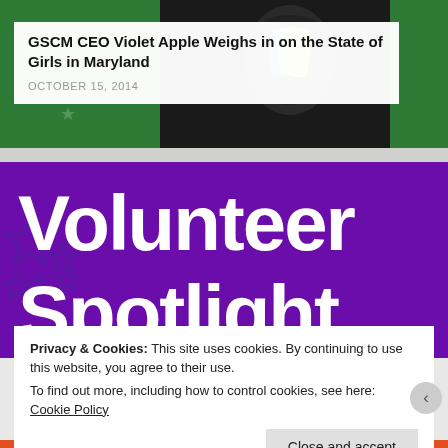[Figure (photo): Photo of a person at a graduation, wearing a dark suit with a colorful scarf/stole, against a green background. Partially visible behind white article card overlay.]
GSCM CEO Violet Apple Weighs in on the State of Girls in Maryland
OCTOBER 15, 2014
[Figure (illustration): Purple banner with white bold text reading 'Volunteer Spotlight' and decorative star outlines in the background.]
Privacy & Cookies: This site uses cookies. By continuing to use this website, you agree to their use.
To find out more, including how to control cookies, see here: Cookie Policy